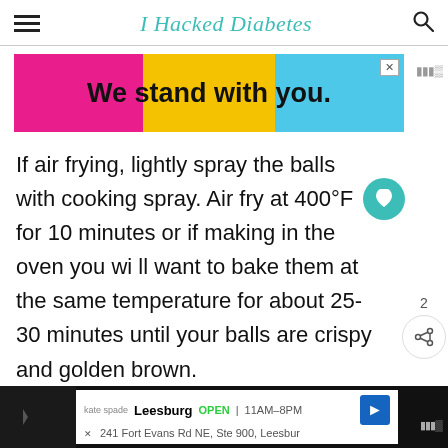I Hacked Diabetes
[Figure (infographic): Colorful advertisement banner with pink, yellow, and blue background sections. Text reads 'We stand with you.' in bold black. An X close button in the upper right corner.]
If air frying, lightly spray the balls with cooking spray. Air fry at 400°F for 10 minutes or if making in the oven you will want to bake them at the same temperature for about 25-30 minutes until your balls are crispy and golden brown.
[Figure (infographic): Bottom ad bar: dark background with Google Maps ad showing Leesburg location, Kate Spade logo, address 241 Fort Evans Rd NE, Ste 900, Leesburg, hours 11AM-8PM, blue navigation arrow icon.]